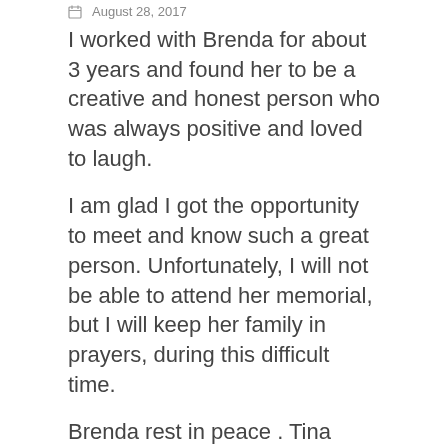August 28, 2017
I worked with Brenda for about 3 years and found her to be a creative and honest person who was always positive and loved to laugh.
I am glad I got the opportunity to meet and know such a great person. Unfortunately, I will not be able to attend her memorial, but I will keep her family in prayers, during this difficult time.
Brenda rest in peace . Tina
Gabriel
August 28, 2017